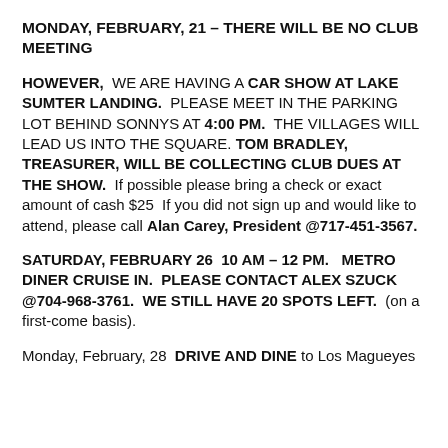MONDAY, FEBRUARY, 21 – THERE WILL BE NO CLUB MEETING
HOWEVER, WE ARE HAVING A CAR SHOW AT LAKE SUMTER LANDING. PLEASE MEET IN THE PARKING LOT BEHIND SONNYS AT 4:00 PM. THE VILLAGES WILL LEAD US INTO THE SQUARE. TOM BRADLEY, TREASURER, WILL BE COLLECTING CLUB DUES AT THE SHOW. If possible please bring a check or exact amount of cash $25 If you did not sign up and would like to attend, please call Alan Carey, President @717-451-3567.
SATURDAY, FEBRUARY 26 10 AM – 12 PM. METRO DINER CRUISE IN. PLEASE CONTACT ALEX SZUCK @704-968-3761. WE STILL HAVE 20 SPOTS LEFT. (on a first-come basis).
Monday, February, 28 DRIVE AND DINE to Los Magueyes